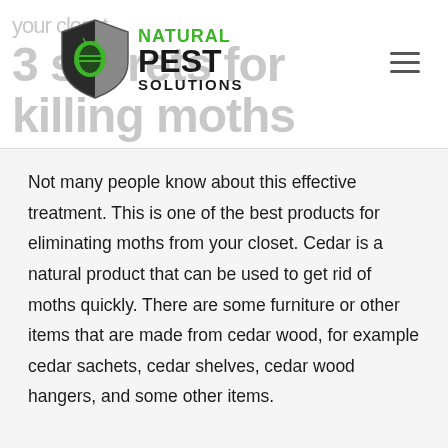your closet
3 secrets for killing moths
[Figure (logo): Natural Pest Solutions logo with shield icon (black/grey shield with green beetle) and company name text]
Not many people know about this effective treatment. This is one of the best products for eliminating moths from your closet. Cedar is a natural product that can be used to get rid of moths quickly. There are some furniture or other items that are made from cedar wood, for example cedar sachets, cedar shelves, cedar wood hangers, and some other items.